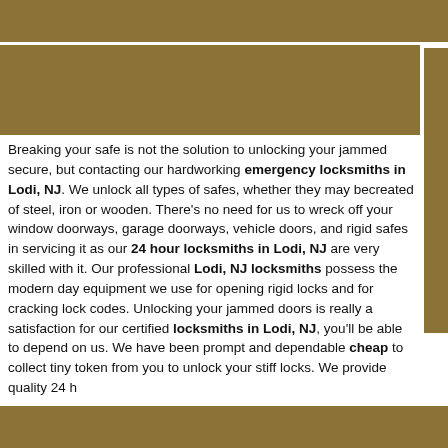Breaking your safe is not the solution to unlocking your jammed secure, but contacting our hardworking emergency locksmiths in Lodi, NJ. We unlock all types of safes, whether they may becreated of steel, iron or wooden. There’s no need for us to wreck off your window doorways, garage doorways, vehicle doors, and rigid safes in servicing it as our 24 hour locksmiths in Lodi, NJ are very skilled with it. Our professional Lodi, NJ locksmiths possess the modern day equipment we use for opening rigid locks and for cracking lock codes. Unlocking your jammed doors is really a satisfaction for our certified locksmiths in Lodi, NJ, you’ll be able to depend on us. We have been prompt and dependable cheap to collect tiny token from you to unlock your stiff locks. We provide quality 24 h
24/ seven Automobile Locksmith
24 Hr Emergency Locksmith
24 Hr Locksmith Service
24 Several hours Protected Locksmith